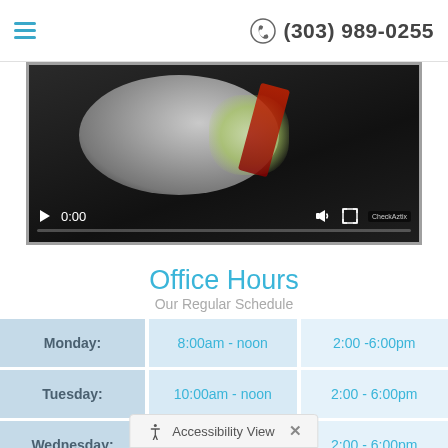(303) 989-0255
[Figure (screenshot): Video player thumbnail showing a medical/surgical procedure. Controls show play button, time 0:00, volume icon, and a progress bar at the bottom. A watermark reading CheckAztix is visible.]
Office Hours
Our Regular Schedule
| Day | Morning | Afternoon |
| --- | --- | --- |
| Monday: | 8:00am - noon | 2:00 -6:00pm |
| Tuesday: | 10:00am - noon | 2:00 - 6:00pm |
| Wednesday: | 8:00am - noon | 2:00 - 6:00pm |
| Thursday: | 8:00am - noon | 2:00 - 6:00pm |
Accessibility View ×